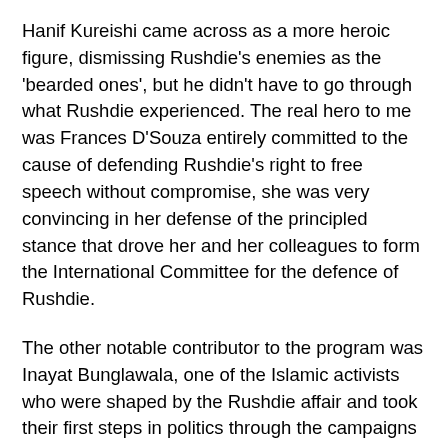Hanif Kureishi came across as a more heroic figure, dismissing Rushdie's enemies as the 'bearded ones', but he didn't have to go through what Rushdie experienced. The real hero to me was Frances D'Souza entirely committed to the cause of defending Rushdie's right to free speech without compromise, she was very convincing in her defense of the principled stance that drove her and her colleagues to form the International Committee for the defence of Rushdie.
The other notable contributor to the program was Inayat Bunglawala, one of the Islamic activists who were shaped by the Rushdie affair and took their first steps in politics through the campaigns to ban the book. At the end of the program, Bunglawala admitted that they were wrong in calling for the book to be banned and for supporting the Fatwa against Rushdie. Instead, he said, they should have fought it on 'the plain of ideas'. It's an amazing admission, and shows that at least some people did learn from the whole episode.
If Islamic 'fundamentalists' manage to learn the value of free speech, perhaps the environmental 'movement' should take notice that its tactics of intimidation and accusing people of